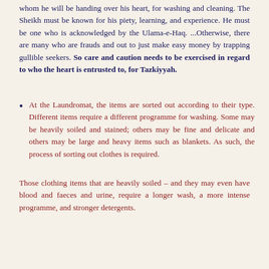whom he will be handing over his heart, for washing and cleaning. The Sheikh must be known for his piety, learning, and experience. He must be one who is acknowledged by the Ulama-e-Haq. ...Otherwise, there are many who are frauds and out to just make easy money by trapping gullible seekers. So care and caution needs to be exercised in regard to who the heart is entrusted to, for Tazkiyyah.
At the Laundromat, the items are sorted out according to their type. Different items require a different programme for washing. Some may be heavily soiled and stained; others may be fine and delicate and others may be large and heavy items such as blankets. As such, the process of sorting out clothes is required.
Those clothing items that are heavily soiled – and they may even have blood and faeces and urine, require a longer wash, a more intense programme, and stronger detergents.